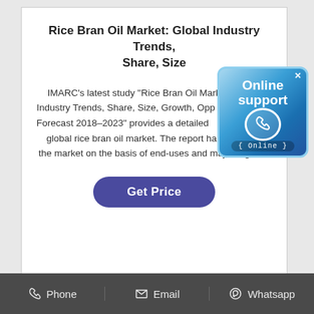Rice Bran Oil Market: Global Industry Trends, Share, Size
IMARC's latest study 'Rice Bran Oil Market: Global Industry Trends, Share, Size, Growth, Opportunities and Forecast 2018-2023' provides a detailed analysis of the global rice bran oil market. The report has analysed the market on the basis of end-uses and major regions.
[Figure (infographic): Online support badge with phone icon and 'Online' label]
Get Price
Phone   Email   Whatsapp